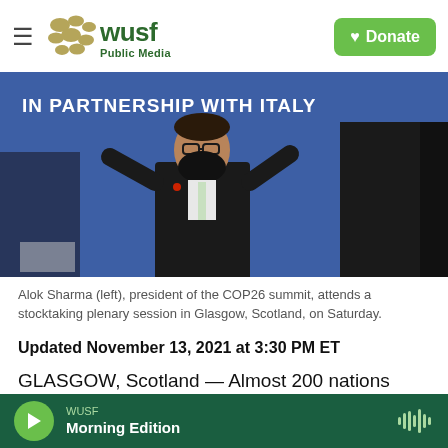[Figure (logo): WUSF Public Media logo with hamburger menu and Donate button]
[Figure (photo): Alok Sharma (left), president of the COP26 summit, stands at a podium wearing a black mask and suit with hands raised, blue background reads IN PARTNERSHIP WITH ITALY]
Alok Sharma (left), president of the COP26 summit, attends a stocktaking plenary session in Glasgow, Scotland, on Saturday.
Updated November 13, 2021 at 3:30 PM ET
GLASGOW, Scotland — Almost 200 nations
[Figure (screenshot): WUSF audio player bar at bottom: Morning Edition]